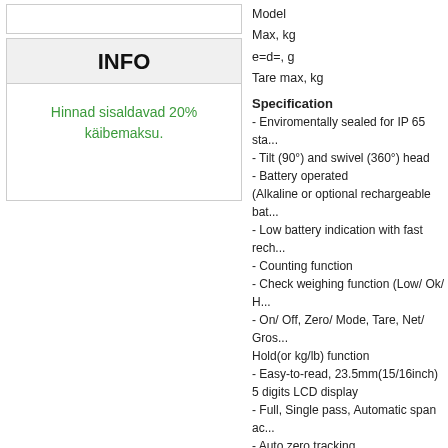INFO
Hinnad sisaldavad 20% käibemaksu.
|  |  |
| --- | --- |
| Model |  |
| Max, kg |  |
| e=d=, g |  |
| Tare max, kg |  |
Specification
- Enviromentally sealed for IP 65 sta...
- Tilt (90°) and swivel (360°) head
- Battery operated (Alkaline or optional rechargeable bat...
- Low battery indication with fast rech...
- Counting function
- Check weighing function (Low/ Ok/ H...
- On/ Off, Zero/ Mode, Tare, Net/ Gros... Hold(or kg/lb) function
- Easy-to-read, 23.5mm(15/16inch) 5 digits LCD display
- Full, Single pass, Automatic span ac...
- Auto zero tracking
- AC adapter (12V DC 850mA)
OPTIONS
- Back light display
- Rechargeable battery pack
- Wall mount kit
- RS-232C interface
- Printer
DEP-50 (Receipt printer)
Teh. specification:
For legal trade, III class